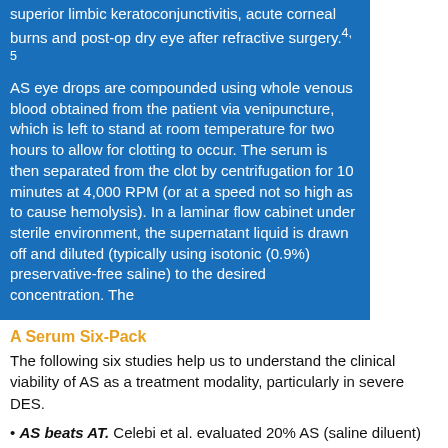superior limbic keratoconjunctivitis, acute corneal burns and post-op dry eye after refractive surgery.4, 5
AS eye drops are compounded using whole venous blood obtained from the patient via venipuncture, which is left to stand at room temperature for two hours to allow for clotting to occur. The serum is then separated from the clot by centrifugation for 10 minutes at 4,000 RPM (or at a speed not so high as to cause hemolysis). In a laminar flow cabinet under sterile environment, the supernatant liquid is drawn off and diluted (typically using isotonic (0.9%) preservative-free saline) to the desired concentration. The
A Serum Six-Pack
The following six studies help us to understand the clinical viability of AS as a treatment modality, particularly in severe DES.
AS beats AT. Celebi et al. evaluated 20% AS (saline diluent) compared to preservative-free (PF) artificial tears (AT) in patients with severe DES who had failed to respond to conventional dry eye therapies. Following a two-week washout period using PF isotonic saline, subjects were randomized to either AS or artificial tears dosed every six hours. After one month of therapy and a second two-week washout period, the treatments were switched.
Compared to baseline, both therapies resulted in slightly increased Schirmer and slightly less ocular surface staining. Symptoms also improved